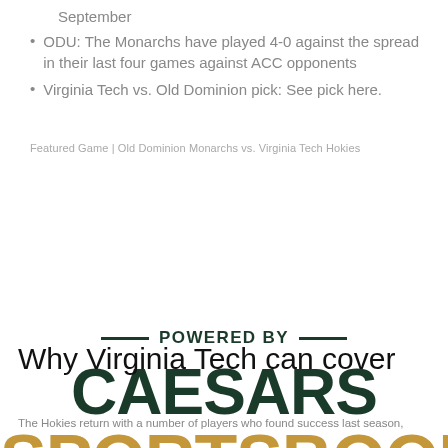September
ODU: The Monarchs have played 4-0 against the spread in their last four games against ACC opponents
Virginia Tech vs. Old Dominion pick: See pick here.
Featured Game | Old Dominion Monarchs vs. Virginia Tech Hokies
[Figure (logo): Powered by Caesars Sportsbook logo/branding with 'POWERED BY' text flanked by dashes, 'CAESARS' in dark green, and 'SPORTSBOOK' in gold]
Why Virginia Tech can cover
The Hokies return with a number of players who found success last season,